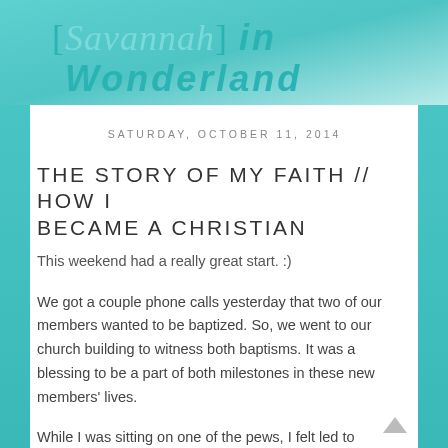[Savannah] in Wonderland
SATURDAY, OCTOBER 11, 2014
THE STORY OF MY FAITH // HOW I BECAME A CHRISTIAN
This weekend had a really great start. :)
We got a couple phone calls yesterday that two of our members wanted to be baptized. So, we went to our church building to witness both baptisms. It was a blessing to be a part of both milestones in these new members' lives.
While I was sitting on one of the pews, I felt led to